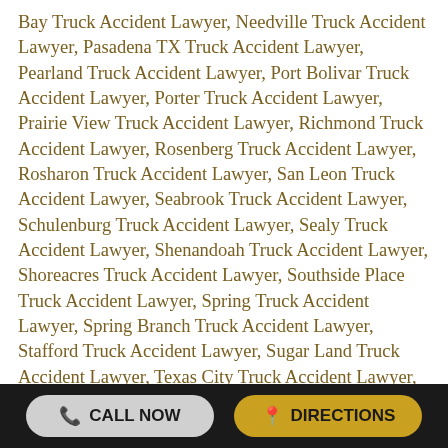Bay Truck Accident Lawyer, Needville Truck Accident Lawyer, Pasadena TX Truck Accident Lawyer, Pearland Truck Accident Lawyer, Port Bolivar Truck Accident Lawyer, Porter Truck Accident Lawyer, Prairie View Truck Accident Lawyer, Richmond Truck Accident Lawyer, Rosenberg Truck Accident Lawyer, Rosharon Truck Accident Lawyer, San Leon Truck Accident Lawyer, Seabrook Truck Accident Lawyer, Schulenburg Truck Accident Lawyer, Sealy Truck Accident Lawyer, Shenandoah Truck Accident Lawyer, Shoreacres Truck Accident Lawyer, Southside Place Truck Accident Lawyer, Spring Truck Accident Lawyer, Spring Branch Truck Accident Lawyer, Stafford Truck Accident Lawyer, Sugar Land Truck Accident Lawyer, Texas City Truck Accident Lawyer, Todd Mission Truck Accident Lawyer, Tomball Truck Accident Lawyer, Van Vleck Truck Accident Lawyer, Waller TX Truck Accident Lawyer, Webster Truck Accident Lawyer, West Columbia TX Truck Accident Lawyer, Wharton Truck Accident Lawyer, Willis TX Truck Accident Lawyer, Winnie Truck Accident Lawyer, and The Woodlands Truck Accident
CALL NOW | DIRECTIONS